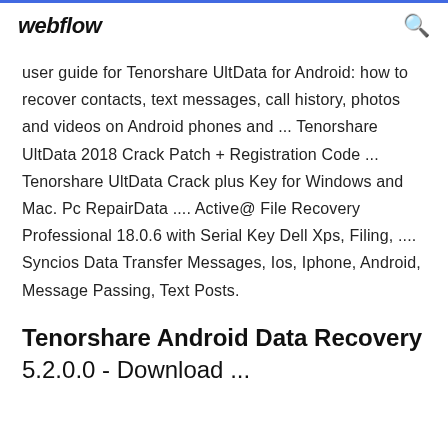webflow
user guide for Tenorshare UltData for Android: how to recover contacts, text messages, call history, photos and videos on Android phones and ... Tenorshare UltData 2018 Crack Patch + Registration Code ... Tenorshare UltData Crack plus Key for Windows and Mac. Pc RepairData .... Active@ File Recovery Professional 18.0.6 with Serial Key Dell Xps, Filing, .... Syncios Data Transfer Messages, Ios, Iphone, Android, Message Passing, Text Posts.
Tenorshare Android Data Recovery 5.2.0.0 - Download ...